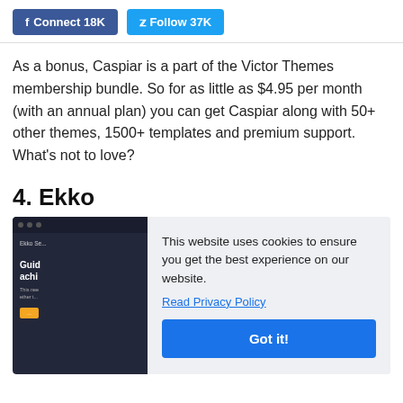f Connect 18K   Follow 37K
As a bonus, Caspiar is a part of the Victor Themes membership bundle. So for as little as $4.95 per month (with an annual plan) you can get Caspiar along with 50+ other themes, 1500+ templates and premium support. What's not to love?
4. Ekko
[Figure (screenshot): Screenshot of Ekko theme website partially obscured by a cookie consent overlay. The overlay reads: 'This website uses cookies to ensure you get the best experience on our website. Read Privacy Policy' with a blue 'Got it!' button.]